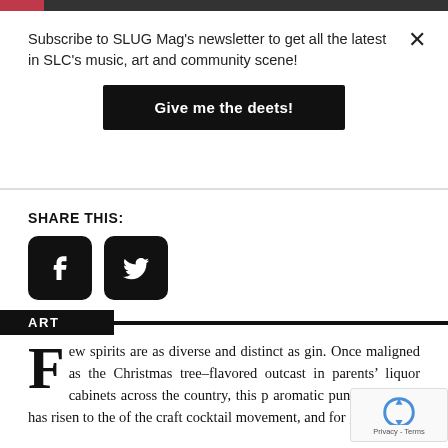Subscribe to SLUG Mag's newsletter to get all the latest in SLC's music, art and community scene!
Give me the deets!
SHARE THIS:
[Figure (other): Facebook and Twitter share icon buttons]
ART
Few spirits are as diverse and distinct as gin. Once maligned as the Christmas tree-flavored outcast in parents' liquor cabinets across the country, this p aromatic punch of booze has risen to the of the craft cocktail movement, and for good